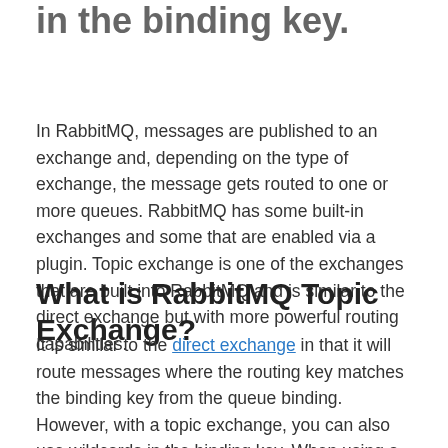RabbitMQ, enabling the use of wildcards in the binding key.
In RabbitMQ, messages are published to an exchange and, depending on the type of exchange, the message gets routed to one or more queues. RabbitMQ has some built-in exchanges and some that are enabled via a plugin. Topic exchange is one of the exchanges that are built into RabbitMQ and is similar to the direct exchange but with more powerful routing capabilities.
What is RabbitMQ Topic Exchange?
It is similar to the direct exchange in that it will route messages where the routing key matches the binding key from the queue binding. However, with a topic exchange, you can also use wildcards in the binding key. When using a topic exchange the routing key of the message must be